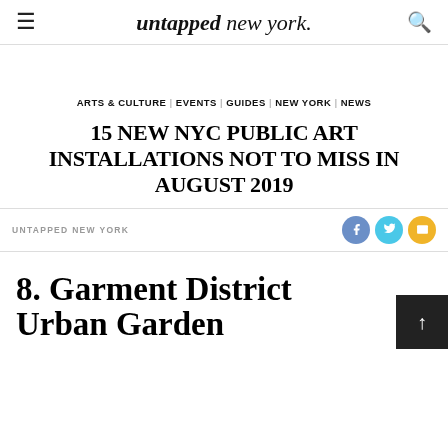untapped new york.
ARTS & CULTURE  EVENTS  GUIDES  NEW YORK  NEWS
15 NEW NYC PUBLIC ART INSTALLATIONS NOT TO MISS IN AUGUST 2019
UNTAPPED NEW YORK
8. Garment District Urban Garden